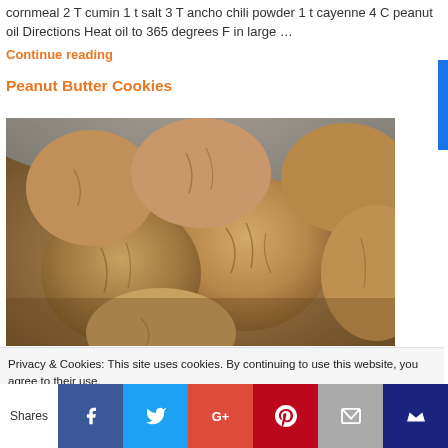cornmeal 2 T cumin 1 t salt 3 T ancho chili powder 1 t cayenne 4 C peanut oil Directions Heat oil to 365 degrees F in large …
Continue reading
Peanut Butter Cookies
[Figure (photo): Close-up photo of peanut butter cookies in a bowl, showing their cracked, golden-brown surface texture.]
Privacy & Cookies: This site uses cookies. By continuing to use this website, you agree to their use.
To find out more, including how to control cookies, see here: Cookie Policy
Shares | Facebook | Twitter | G+ | Pinterest | Email | Crown